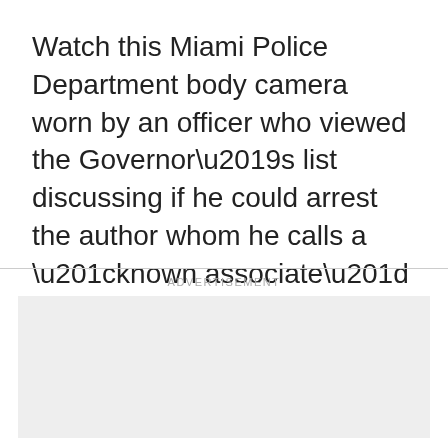Watch this Miami Police Department body camera worn by an officer who viewed the Governor’s list discussing if he could arrest the author whom he calls a “known associate” and/or Kennedy for asking to enter one of the governor’s press conferences:
ADVERTISEMENT
[Figure (other): Advertisement placeholder box (empty gray rectangle)]